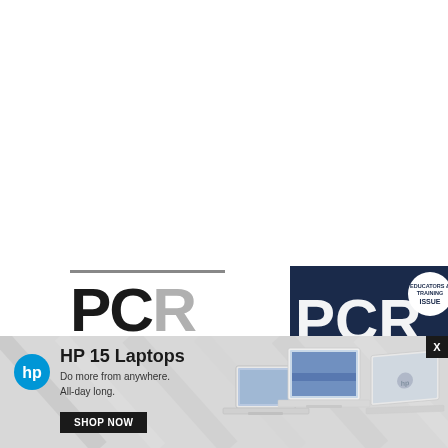[Figure (logo): PCR logo with horizontal lines above and below, letters P and C in black, R in gray]
[Figure (photo): PCR magazine cover with dark navy background showing PCR in large white/gray letters and 'Educators & Training Issue' badge]
[Figure (photo): HP advertisement banner with gray metallic background showing HP logo, HP 15 Laptops headline, tagline 'Do more from anywhere. All-day long.', SHOP NOW button, and images of three HP laptops]